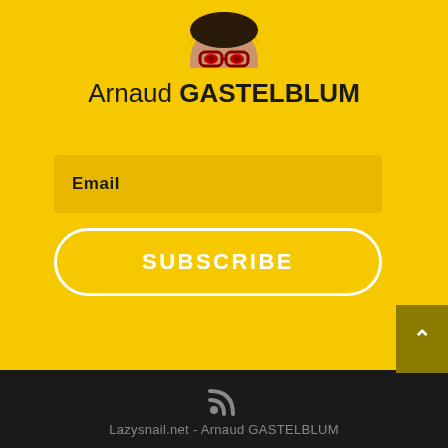[Figure (illustration): Partial avatar illustration of a person in a dark red hoodie, cropped at top of page]
Arnaud GASTELBLUM
Email
SUBSCRIBE
[Figure (illustration): Scroll-to-top button with upward chevron arrow on dark yellow/olive background]
[Figure (illustration): RSS feed icon in grey]
Lazysnail.net - Arnaud GASTELBLUM